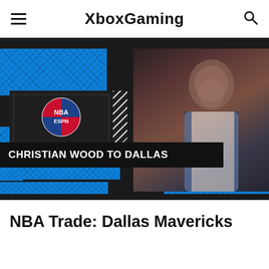XboxGaming
[Figure (screenshot): ESPN NBA broadcast screenshot showing Christian Wood trade to Dallas Mavericks announcement. Left panel shows NBA on ESPN logo with blue diamond pattern background. Right side shows player in Dallas Mavericks white jersey with 'chime' sponsor. Bottom banner reads 'CHRISTIAN WOOD TO DALLAS'.]
NBA Trade: Dallas Mavericks